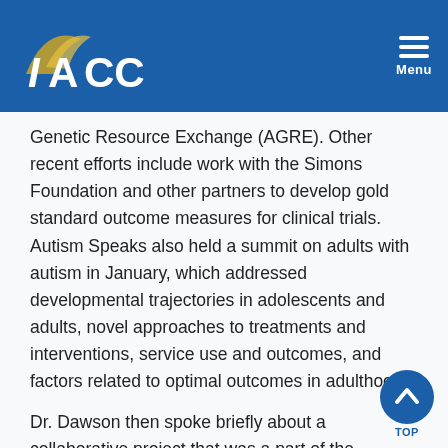IACC Menu
Genetic Resource Exchange (AGRE). Other recent efforts include work with the Simons Foundation and other partners to develop gold standard outcome measures for clinical trials. Autism Speaks also held a summit on adults with autism in January, which addressed developmental trajectories in adolescents and adults, novel approaches to treatments and interventions, service use and outcomes, and factors related to optimal outcomes in adulthood.³
Dr. Dawson then spoke briefly about a collaborative project that was a part of the